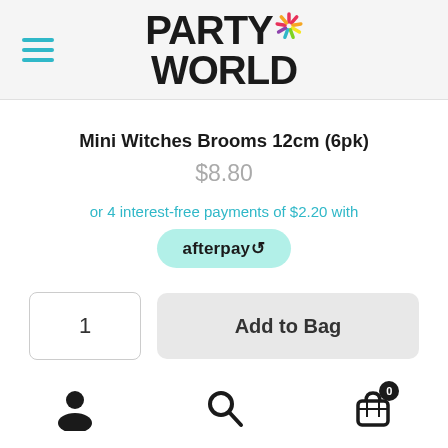[Figure (logo): Party World logo with colorful starburst icon, hamburger menu icon on left]
Mini Witches Brooms 12cm (6pk)
$8.80
or 4 interest-free payments of $2.20 with
[Figure (logo): Afterpay logo badge in mint green pill shape]
1
Add to Bag
Account | Search | Cart (0)